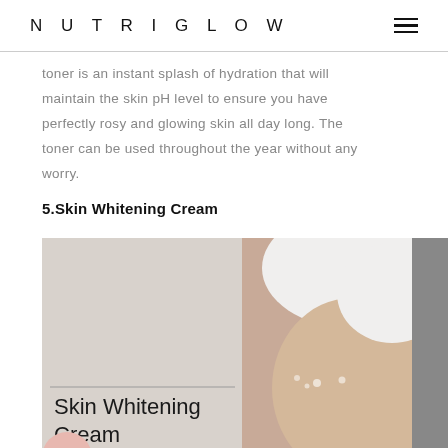NUTRIGLOW
toner is an instant splash of hydration that will maintain the skin pH level to ensure you have perfectly rosy and glowing skin all day long. The toner can be used throughout the year without any worry.
5.Skin Whitening Cream
[Figure (photo): Product image of Skin Whitening Cream for all Skin Type, showing a smiling woman with white towel on head applying cream under her eyes, with product label overlay reading 'Skin Whitening Cream For all Skin Type']